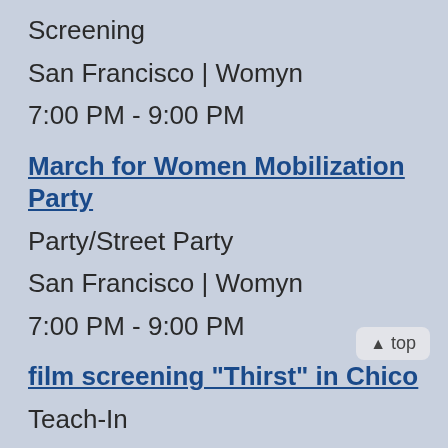Screening
San Francisco | Womyn
7:00 PM - 9:00 PM
March for Women Mobilization Party
Party/Street Party
San Francisco | Womyn
7:00 PM - 9:00 PM
film screening "Thirst" in Chico
Teach-In
Central Valley | Global Justice & Anti-Capitalism
7:00 PM - 8:00 PM